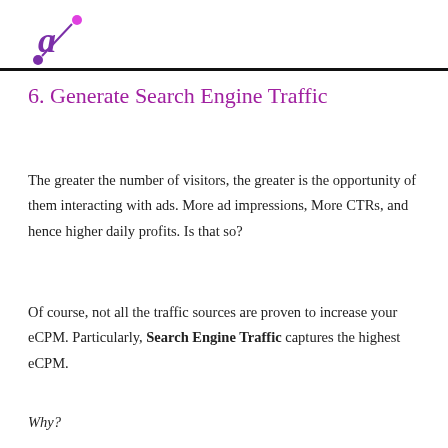a (logo)
6. Generate Search Engine Traffic
The greater the number of visitors, the greater is the opportunity of them interacting with ads. More ad impressions, More CTRs, and hence higher daily profits. Is that so?
Of course, not all the traffic sources are proven to increase your eCPM. Particularly, Search Engine Traffic captures the highest eCPM.
Why?